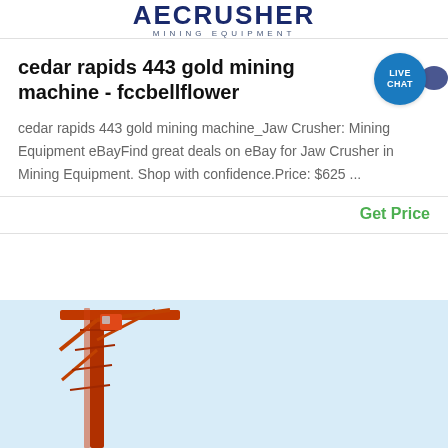[Figure (logo): AECRUSHER MINING EQUIPMENT logo banner at the top of the page]
cedar rapids 443 gold mining machine - fccbellflower
cedar rapids 443 gold mining machine_Jaw Crusher: Mining Equipment eBayFind great deals on eBay for Jaw Crusher in Mining Equipment. Shop with confidence.Price: $625 ...
Get Price
[Figure (photo): Photo of a large orange mining crane/tower structure against a light blue sky background, partially cropped at bottom of page]